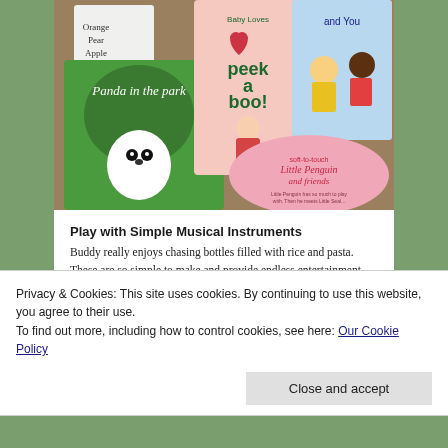[Figure (photo): Photo of several children's board books laid on a cork/wooden surface, including titles: 'Panda in the park', 'Baby Loves Peekaboo!', 'and You', 'Little Penguin and friends', and a partially visible book showing 'Orange Pear Apple Bear'.]
Play with Simple Musical Instruments
Buddy really enjoys chasing bottles filled with rice and pasta. These are so simple to make and provide endless entertainment.
We practice pushing them to each other. Shaking
Privacy & Cookies: This site uses cookies. By continuing to use this website, you agree to their use.
To find out more, including how to control cookies, see here: Our Cookie Policy
Close and accept